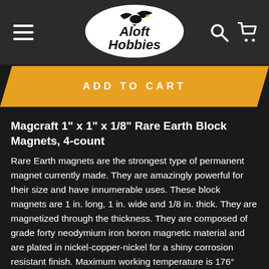[Figure (logo): Aloft Hobbies logo — black oval with eagle silhouette and white text reading 'Aloft Hobbies']
Add to cart
Magcraft 1" x 1" x 1/8" Rare Earth Block Magnets, 4-count
Rare Earth magnets are the strongest type of permanent magnet currently made. They are amazingly powerful for their size and have innumerable uses. These block magnets are 1 in. long, 1 in. wide and 1/8 in. thick. They are magnetized through the thickness. They are composed of grade forty neodymium iron boron magnetic material and are plated in nickel-copper-nickel for a shiny corrosion resistant finish. Maximum working temperature is 176° Fahrenheit. Magnets may chip and crack if allowed to snap together. WARNING: Keep out of reach of children. This is